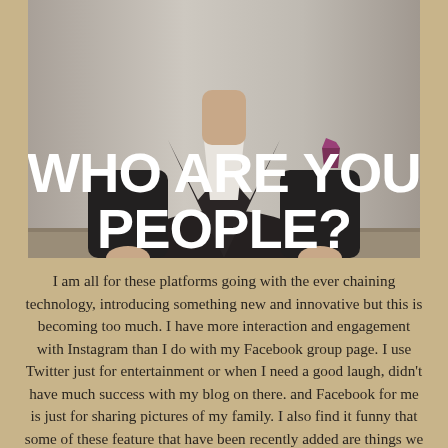[Figure (photo): A man in a dark suit with a white shirt and a dark pocket square, photographed from the waist up against a neutral background. Bold white text overlaid reads 'WHO ARE YOU PEOPLE?']
I am all for these platforms going with the ever chaining technology, introducing something new and innovative but this is becoming too much. I have more interaction and engagement with Instagram than I do with my Facebook group page. I use Twitter just for entertainment or when I need a good laugh, didn't have much success with my blog on there. and Facebook for me is just for sharing pictures of my family. I also find it funny that some of these feature that have been recently added are things we haven't been asking for. I know a lot of people including myself want the